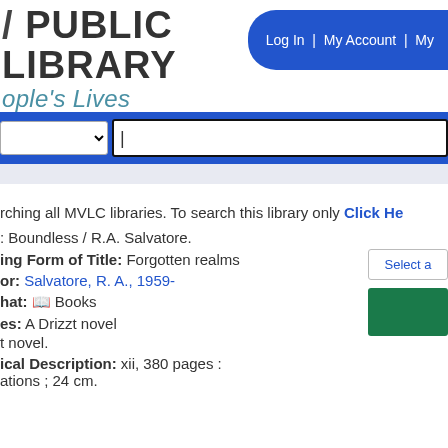/ PUBLIC LIBRARY
ople's Lives
Log In | My Account | My
[Figure (screenshot): Search bar with dropdown selector and text input field on blue background]
rching all MVLC libraries. To search this library only Click He
: Boundless / R.A. Salvatore.
ing Form of Title: Forgotten realms
or: Salvatore, R. A., 1959-
hat: 📚 Books
es: A Drizzt novel
t novel.
ical Description: xii, 380 pages :
ations ; 24 cm.